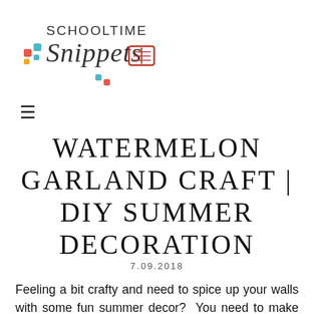[Figure (logo): Schooltime Snippets logo with colorful dots and an open book icon]
≡
WATERMELON GARLAND CRAFT | DIY SUMMER DECORATION
7.09.2018
Feeling a bit crafty and need to spice up your walls with some fun summer decor?  You need to make this adorable Watermelon Garland!